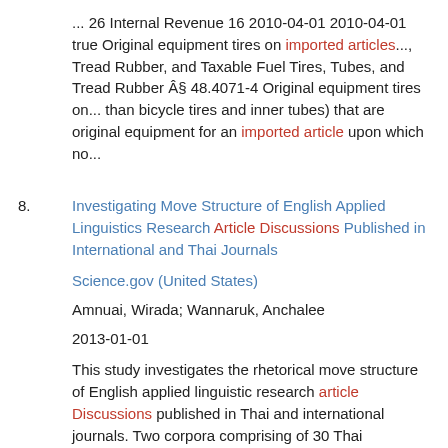... 26 Internal Revenue 16 2010-04-01 2010-04-01 true Original equipment tires on imported articles..., Tread Rubber, and Taxable Fuel Tires, Tubes, and Tread Rubber § 48.4071-4 Original equipment tires on... than bicycle tires and inner tubes) that are original equipment for an imported article upon which no...
8. Investigating Move Structure of English Applied Linguistics Research Article Discussions Published in International and Thai Journals
Science.gov (United States)
Amnuai, Wirada; Wannaruk, Anchalee
2013-01-01
This study investigates the rhetorical move structure of English applied linguistic research article Discussions published in Thai and international journals. Two corpora comprising of 30 Thai Discussions and 30 international Discussions were analyzed using Yang & Allison's (2003) move model. Based on the analysis, both similarities andâ€¦